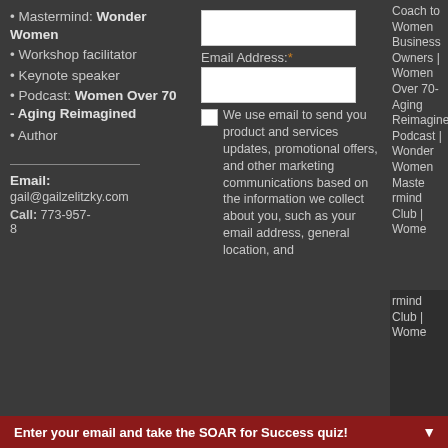• Mastermind: Wonder Women
• Workshop facilitator
• Keynote speaker
• Podcast: Women Over 70 - Aging Reimagined
• Author
Email: gail@gailzelitzky.com
Call: 773-957-8...
Email Address: * [form field] [checkbox] We use email to send you product and services updates, promotional offers, and other marketing communications based on the information we collect about you, such as your email address, general location, and
Coach to Women Business Owners | Women Over 70- Aging Reimagined Podcast | Wonder Women Mastermind Club | Wome...
Enter your email and take the SOAR for Success quiz!